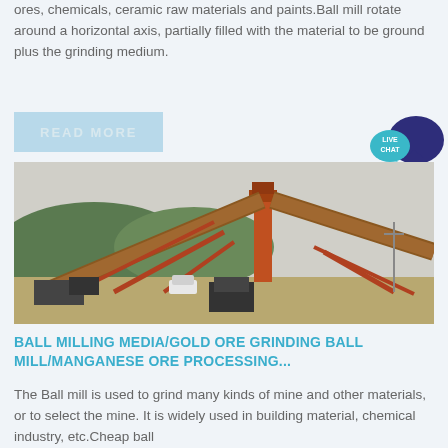ores, chemicals, ceramic raw materials and paints.Ball mill rotate around a horizontal axis, partially filled with the material to be ground plus the grinding medium.
[Figure (other): READ MORE button — light blue rectangular button with white uppercase text]
[Figure (other): LIVE CHAT speech bubble icon in teal/dark blue]
[Figure (photo): Industrial mining/crushing plant with large orange conveyor belts and machinery on a construction site with mountains in background]
BALL MILLING MEDIA/GOLD ORE GRINDING BALL MILL/MANGANESE ORE PROCESSING...
The Ball mill is used to grind many kinds of mine and other materials, or to select the mine. It is widely used in building material, chemical industry, etc.Cheap ball